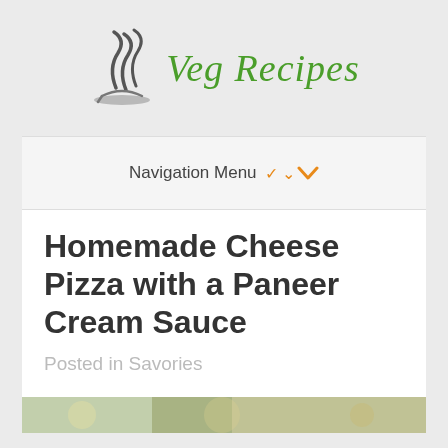[Figure (logo): Veg Recipes logo with steam/swirl icon and decorative green text]
Navigation Menu ▾
Homemade Cheese Pizza with a Paneer Cream Sauce
Posted in Savories
[Figure (photo): Partial photo of pizza dish at bottom of page]